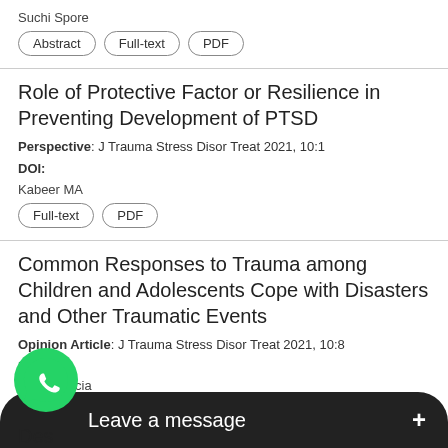Suchi Spore
Abstract | Full-text | PDF
Role of Protective Factor or Resilience in Preventing Development of PTSD
Perspective: J Trauma Stress Disor Treat 2021, 10:1
DOI:
Kabeer MA
Full-text | PDF
Common Responses to Trauma among Children and Adolescents Cope with Disasters and Other Traumatic Events
Opinion Article: J Trauma Stress Disor Treat 2021, 10:8
DOI:
...ina Garcia
Abstract | Full-text | PDF
Des...